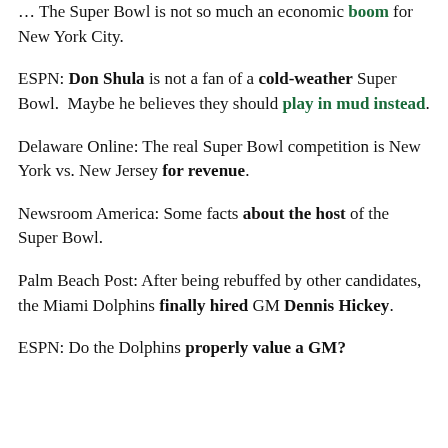… The Super Bowl is not so much an economic boom for New York City.
ESPN: Don Shula is not a fan of a cold-weather Super Bowl. Maybe he believes they should play in mud instead.
Delaware Online: The real Super Bowl competition is New York vs. New Jersey for revenue.
Newsroom America: Some facts about the host of the Super Bowl.
Palm Beach Post: After being rebuffed by other candidates, the Miami Dolphins finally hired GM Dennis Hickey.
ESPN: Do the Dolphins properly value a GM?